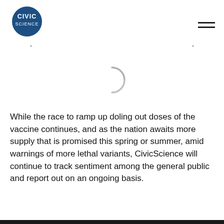[Figure (logo): CivicScience logo: blue speech bubble circle with white text 'CIVIC SCIENCE']
[Figure (other): Hamburger menu icon with two horizontal lines]
[Figure (other): Loading spinner (gray partial arc/circle)]
While the race to ramp up doling out doses of the vaccine continues, and as the nation awaits more supply that is promised this spring or summer, amid warnings of more lethal variants, CivicScience will continue to track sentiment among the general public and report out on an ongoing basis.